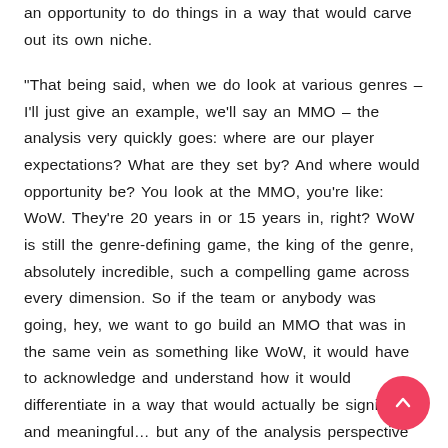an opportunity to do things in a way that would carve out its own niche.
"That being said, when we do look at various genres – I'll just give an example, we'll say an MMO – the analysis very quickly goes: where are our player expectations? What are they set by? And where would opportunity be? You look at the MMO, you're like: WoW. They're 20 years in or 15 years in, right? WoW is still the genre-defining game, the king of the genre, absolutely incredible, such a compelling game across every dimension. So if the team or anybody was going, hey, we want to go build an MMO that was in the same vein as something like WoW, it would have to acknowledge and understand how it would differentiate in a way that would actually be significant and meaningful... but any of the analysis perspective that's oriented from that standpoint has